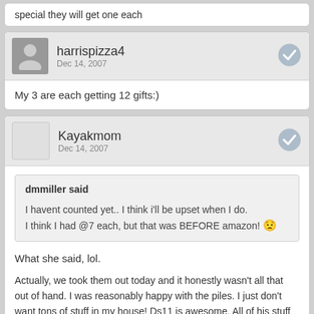special they will get one each
harrispizza4
Dec 14, 2007
My 3 are each getting 12 gifts:)
Kayakmom
Dec 14, 2007
dmmiller said
I havent counted yet.. I think i'll be upset when I do.
I think I had @7 each, but that was BEFORE amazon! :(
What she said, lol.

Actually, we took them out today and it honestly wasn't all that out of hand. I was reasonably happy with the piles. I just don't want tons of stuff in my house! Ds11 is awesome. All of his stuff is so small! PSP UMDs, DS game, wii games, etc. Love it! It's all wrapped and I stored it in one tiny box! Ds6 is by far the worst with all his big junk. Dd 20 months has a reasonable pile. Dd 6 months got some things more for